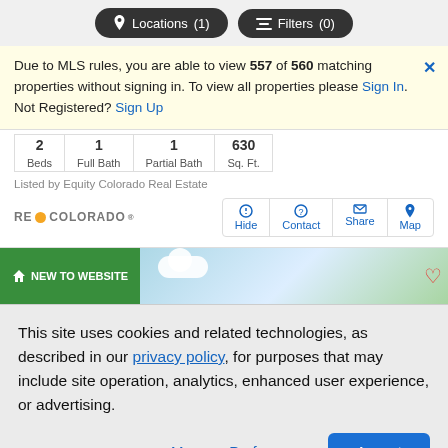Locations (1)   Filters (0)
Due to MLS rules, you are able to view 557 of 560 matching properties without signing in. To view all properties please Sign In. Not Registered? Sign Up
| Beds | Full Bath | Partial Bath | Sq. Ft. |
| --- | --- | --- | --- |
| 2 | 1 | 1 | 630 |
Listed by Equity Colorado Real Estate
RE COLORADO   Hide  Contact  Share  Map
[Figure (screenshot): Real estate listing thumbnail showing 'NEW TO WEBSITE' badge over a sky and tree background image]
This site uses cookies and related technologies, as described in our privacy policy, for purposes that may include site operation, analytics, enhanced user experience, or advertising.
Manage Preferences    Accept